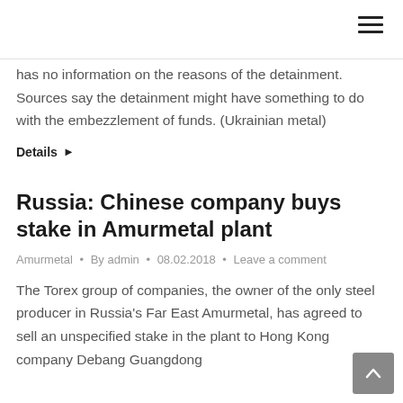☰
has no information on the reasons of the detainment. Sources say the detainment might have something to do with the embezzlement of funds. (Ukrainian metal)
Details ▸
Russia: Chinese company buys stake in Amurmetal plant
Amurmetal • By admin • 08.02.2018 • Leave a comment
The Torex group of companies, the owner of the only steel producer in Russia's Far East Amurmetal, has agreed to sell an unspecified stake in the plant to Hong Kong company Debang Guangdong